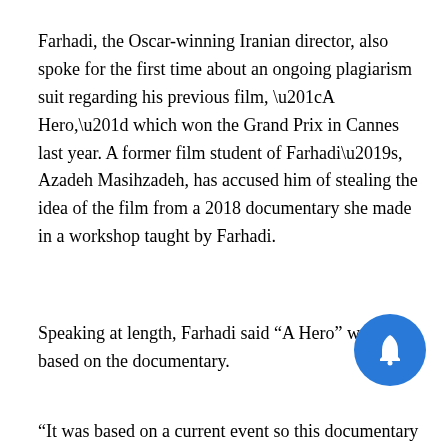Farhadi, the Oscar-winning Iranian director, also spoke for the first time about an ongoing plagiarism suit regarding his previous film, “A Hero,” which won the Grand Prix in Cannes last year. A former film student of Farhadi’s, Azadeh Masihzadeh, has accused him of stealing the idea of the film from a 2018 documentary she made in a workshop taught by Farhadi.
Speaking at length, Farhadi said “A Hero” was not based on the documentary.
“It was based on a current event so this documentary and this film are based on an event that happened two years before the workshop,” said Farhadi. “When an event takes place and is covered by the press, then it becomes public knowledge and you can do what you like about the event. You can write